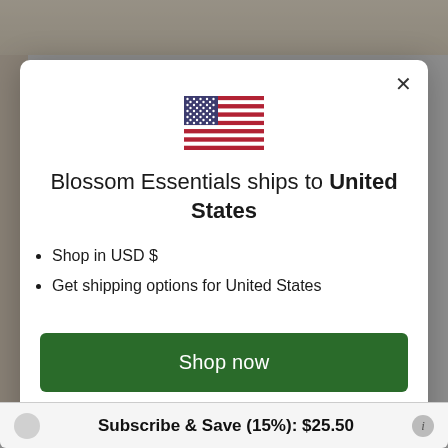[Figure (screenshot): A modal dialog on an e-commerce website. Shows a US flag, text 'Blossom Essentials ships to United States', bullet points for shop in USD $ and get shipping options for United States, a green 'Shop now' button, and a 'Change shipping country' link. At the bottom is a partially visible 'Subscribe & Save (15%): $25.50' bar.]
Blossom Essentials ships to United States
Shop in USD $
Get shipping options for United States
Shop now
Change shipping country
Subscribe & Save (15%): $25.50